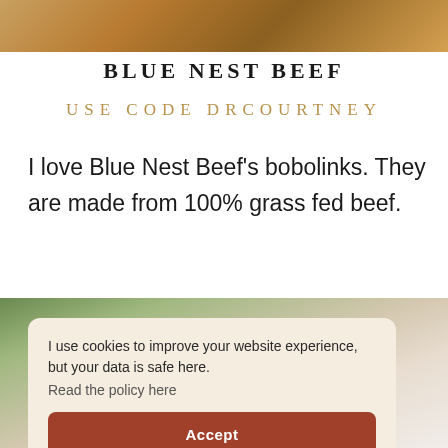[Figure (photo): Top banner photo showing food/beef image with warm golden-brown tones]
BLUE NEST BEEF
USE CODE DRCOURTNEY
I love Blue Nest Beef’s bobolinks. They are made from 100% grass fed beef.
[Figure (photo): Bottom background photo showing soft beige/cream and green tones, likely bedding or food styling]
I use cookies to improve your website experience, but your data is safe here. Read the policy here
Accept